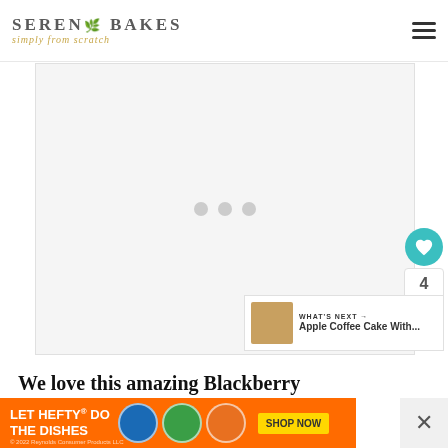SERENA BAKES simply from scratch
[Figure (other): Advertisement loading placeholder with three gray dots]
[Figure (other): Social sidebar with heart/like button showing count 4 and share button]
[Figure (other): What's Next panel showing Apple Coffee Cake With... thumbnail]
We love this amazing Blackberry
[Figure (other): Bottom advertisement banner: LET HEFTY DO THE DISHES - Reynolds Consumer Products LLC 2022, SHOP NOW button]
[Figure (other): Close/X button for advertisement]